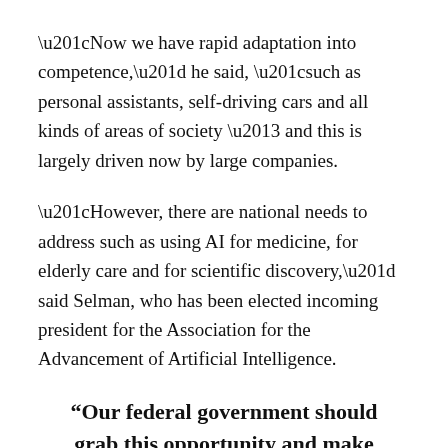“Now we have rapid adaptation into competence,” he said, “such as personal assistants, self-driving cars and all kinds of areas of society – and this is largely driven now by large companies.
“However, there are national needs to address such as using AI for medicine, for elderly care and for scientific discovery,” said Selman, who has been elected incoming president for the Association for the Advancement of Artificial Intelligence.
“Our federal government should grab this opportunity and make